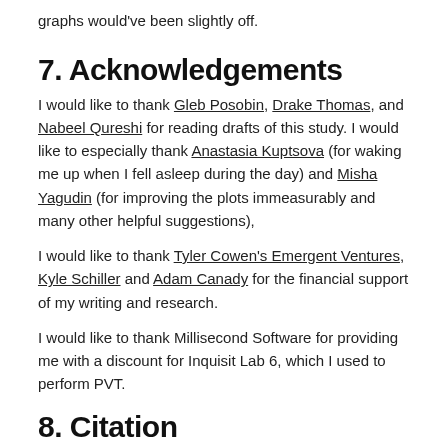graphs would've been slightly off.
7. Acknowledgements
I would like to thank Gleb Posobin, Drake Thomas, and Nabeel Qureshi for reading drafts of this study. I would like to especially thank Anastasia Kuptsova (for waking me up when I fell asleep during the day) and Misha Yagudin (for improving the plots immeasurably and many other helpful suggestions),
I would like to thank Tyler Cowen's Emergent Ventures, Kyle Schiller and Adam Canady for the financial support of my writing and research.
I would like to thank Millisecond Software for providing me with a discount for Inquisit Lab 6, which I used to perform PVT.
8. Citation